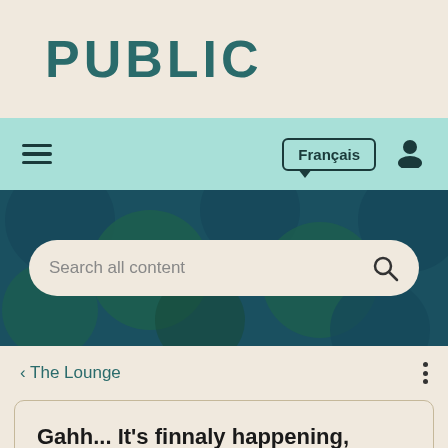PUBLIC
[Figure (screenshot): Navigation bar with hamburger menu, Français language button, and user icon on teal background]
[Figure (screenshot): Hero banner with dark teal background and decorative circle pattern, containing a search bar with placeholder 'Search all content']
< The Lounge
Gahh... It's finnaly happening, Windows 11